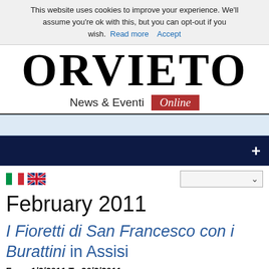This website uses cookies to improve your experience. We'll assume you're ok with this, but you can opt-out if you wish. Read more  Accept
[Figure (logo): Orvieto News & Eventi Online logo with large serif ORVIETO text and red Online badge]
[Figure (other): Light blue navigation bar]
[Figure (other): Dark navy navigation bar with plus button]
[Figure (other): Italian and UK flag icons with dropdown selector]
February 2011
I Fioretti di San Francesco con i Burattini in Assisi
From 1/2/2011 To 26/2/2011